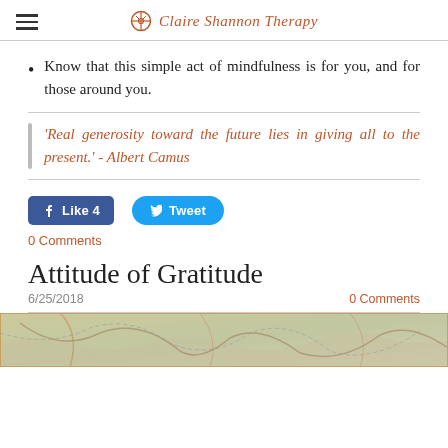Claire Shannon Therapy
Know that this simple act of mindfulness is for you, and for those around you.
'Real generosity toward the future lies in giving all to the present.' - Albert Camus
[Figure (other): Facebook Like button showing 'Like 4' and Twitter Tweet button]
0 Comments
Attitude of Gratitude
6/25/2018
0 Comments
[Figure (map): Partial view of a topographic or road map with earthy tones]